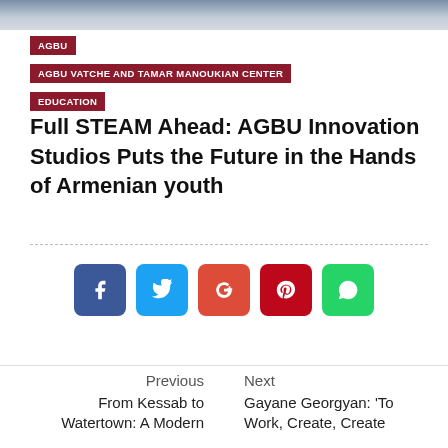[Figure (photo): Partial view of a photo at the top of the page showing a blurred desk/workspace scene]
AGBU
AGBU VATCHE AND TAMAR MANOUKIAN CENTER
EDUCATION
Full STEAM Ahead: AGBU Innovation Studios Puts the Future in the Hands of Armenian youth
[Figure (infographic): Social sharing buttons: Facebook (blue), Twitter (light blue), Google+ (orange-red), Pinterest (dark red), WhatsApp (green)]
Previous
From Kessab to Watertown: A Modern
Next
Gayane Georgyan: 'To Work, Create, Create